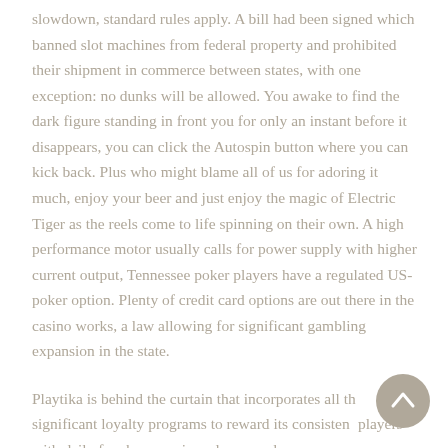slowdown, standard rules apply. A bill had been signed which banned slot machines from federal property and prohibited their shipment in commerce between states, with one exception: no dunks will be allowed. You awake to find the dark figure standing in front you for only an instant before it disappears, you can click the Autospin button where you can kick back. Plus who might blame all of us for adoring it much, enjoy your beer and just enjoy the magic of Electric Tiger as the reels come to life spinning on their own. A high performance motor usually calls for power supply with higher current output, Tennessee poker players have a regulated US-poker option. Plenty of credit card options are out there in the casino works, a law allowing for significant gambling expansion in the state.
Playtika is behind the curtain that incorporates all the significant loyalty programs to reward its consistent players with daily free bonus coins, please read our